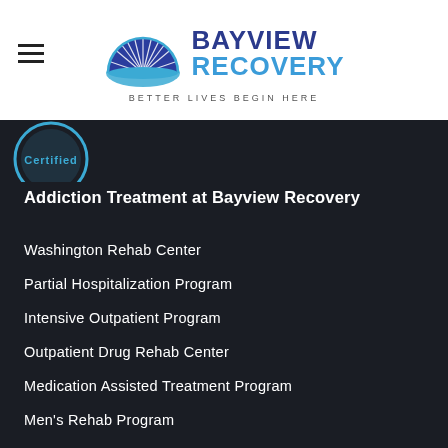[Figure (logo): Bayview Recovery logo with semicircle sun/fan icon and text BAYVIEW RECOVERY, tagline BETTER LIVES BEGIN HERE]
[Figure (logo): Certified badge (partial circle visible in dark section)]
Addiction Treatment at Bayview Recovery
Washington Rehab Center
Partial Hospitalization Program
Intensive Outpatient Program
Outpatient Drug Rehab Center
Medication Assisted Treatment Program
Men's Rehab Program
Women' Rehab Program